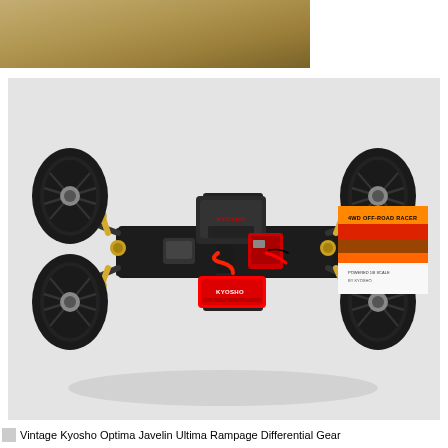[Figure (photo): Tan/gold colored image strip at the top left portion of the page, showing a partial background color swatch]
[Figure (photo): Top-down aerial view of a Kyosho vintage RC buggy (likely Optima/Javelin/Ultima/Rampage) showing the chassis from above. Four off-road tires visible at corners, black frame/chassis, gold shock absorbers, red battery connector, Kyosho branded electronic components, and a white/yellow/red/orange striped body panel on the right side reading '4WD OFF-ROAD RACER'. Light gray background.]
Vintage Kyosho Optima Javelin Ultima Rampage Differential Gear